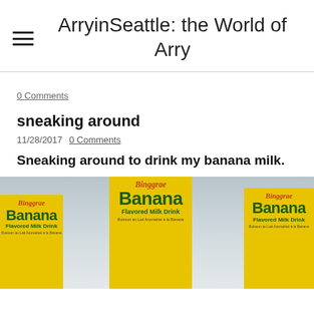ArryinSeattle: the World of Arry
0 Comments
sneaking around
11/28/2017  0 Comments
Sneaking around to drink my banana milk.
[Figure (photo): Three yellow Binggrae Banana Flavored Milk Drink cartons arranged side by side, with the center one tallest, against a light background.]